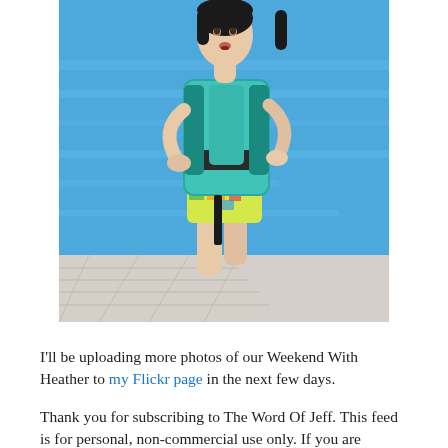[Figure (photo): A young girl in a teal/turquoise life vest and colorful swim shorts standing at the edge of a swimming pool with blue water in the background and pool deck tiles visible at the bottom.]
I'll be uploading more photos of our Weekend With Heather to my Flickr page in the next few days.
Thank you for subscribing to The Word Of Jeff. This feed is for personal, non-commercial use only. If you are